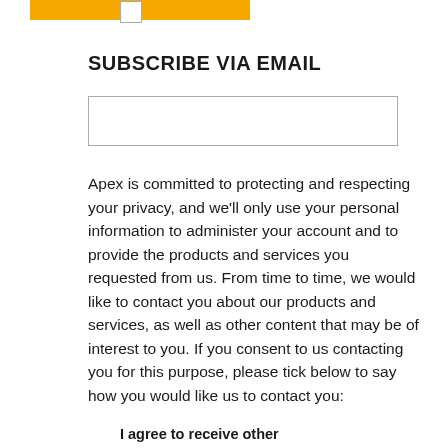[Figure (other): Orange/yellow horizontal bar at top of page]
SUBSCRIBE VIA EMAIL
[Figure (other): Empty email input text box]
Apex is committed to protecting and respecting your privacy, and we'll only use your personal information to administer your account and to provide the products and services you requested from us. From time to time, we would like to contact you about our products and services, as well as other content that may be of interest to you. If you consent to us contacting you for this purpose, please tick below to say how you would like us to contact you:
I agree to receive other communications from Apex.